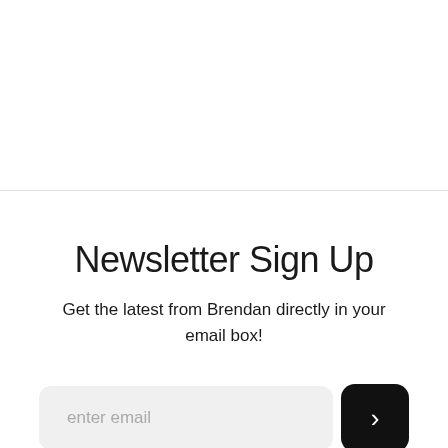Newsletter Sign Up
Get the latest from Brendan directly in your email box!